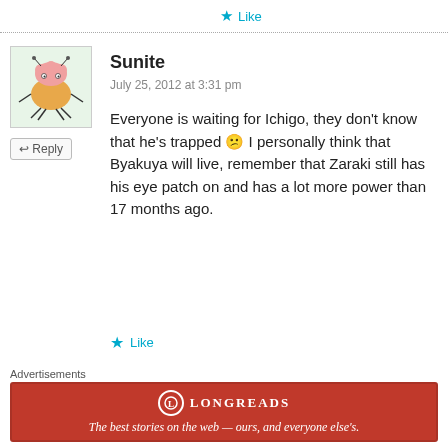Like
Sunite
July 25, 2012 at 3:31 pm
Everyone is waiting for Ichigo, they don't know that he's trapped 😕 I personally think that Byakuya will live, remember that Zaraki still has his eye patch on and has a lot more power than 17 months ago.
Like
Trish
July 25, 2012 at 4:14 pm
Advertisements
[Figure (infographic): Longreads advertisement banner in dark red: circle logo with L, LONGREADS text, tagline 'The best stories on the web — ours, and everyone else's.']